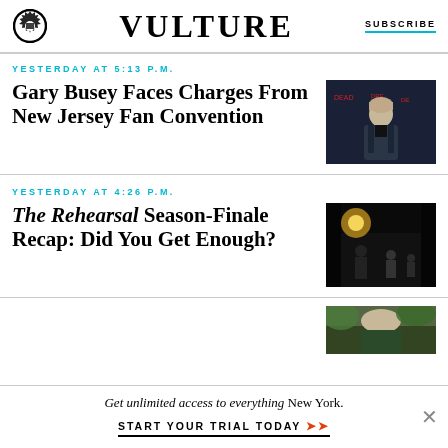VULTURE | SUBSCRIBE
YESTERDAY AT 5:13 P.M.
Gary Busey Faces Charges From New Jersey Fan Convention
[Figure (photo): Gary Busey at a red carpet event wearing a dark suit]
YESTERDAY AT 4:26 P.M.
The Rehearsal Season-Finale Recap: Did You Get Enough?
[Figure (photo): Dark theatrical scene with performers on stage]
[Figure (photo): Partial image of outdoor scene]
Get unlimited access to everything New York.
START YOUR TRIAL TODAY ➤➤